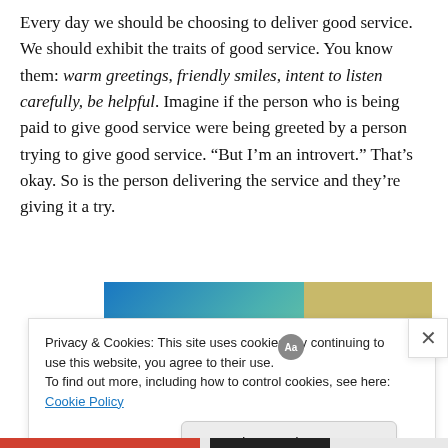Every day we should be choosing to deliver good service. We should exhibit the traits of good service. You know them: warm greetings, friendly smiles, intent to listen carefully, be helpful. Imagine if the person who is being paid to give good service were being greeted by a person trying to give good service. “But I’m an introvert.” That’s okay. So is the person delivering the service and they’re giving it a try.
[Figure (screenshot): Advertisement banner showing the word 'stories.' in white italic bold text on a blue-green gradient background, with a partial image of a person in a yellow jacket on the right side.]
Privacy & Cookies: This site uses cookies. By continuing to use this website, you agree to their use.
To find out more, including how to control cookies, see here: Cookie Policy
Close and accept